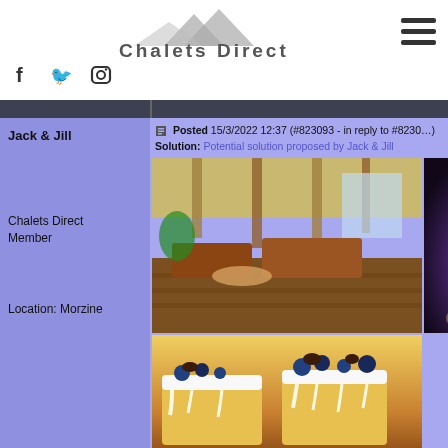Chalets Direct
[Figure (logo): Chalets Direct logo with mountain silhouette above text]
[Figure (illustration): Hamburger menu icon (three horizontal lines)]
[Figure (illustration): Social media icons: Facebook (f), Twitter (bird), Instagram (camera)]
Jack & Jill
Posted 15/3/2022 12:37 (#823093 - in reply to #8230...
Solution: Potential solution proposed by Jack & Jill
Chalets Direct Member
Location: Morzine
[Figure (photo): Interior of chalet living room with wooden beam ceiling and leather sofas]
[Figure (photo): Dark partial image showing a bottle with bokeh lights in background]
[Figure (photo): Close-up of decorated cake slices with white frosting and dark berries on top]
Hi Caroline